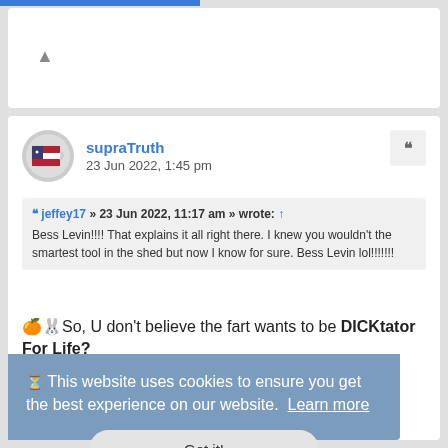[Figure (screenshot): Forum post screenshot with cookie consent banner overlay]
supraTruth
23 Jun 2022, 1:45 pm
jeffey17 » 23 Jun 2022, 11:17 am » wrote: ↑
Bess Levin!!!! That explains it all right there. I knew you wouldn't the smartest tool in the shed but now I know for sure. Bess Levin lol!!!!!!!
🍊🐷So, U don't believe the fart wants to be DICKtator For Life?
This website uses cookies to ensure you get the best experience on our website. Learn more
Got it!